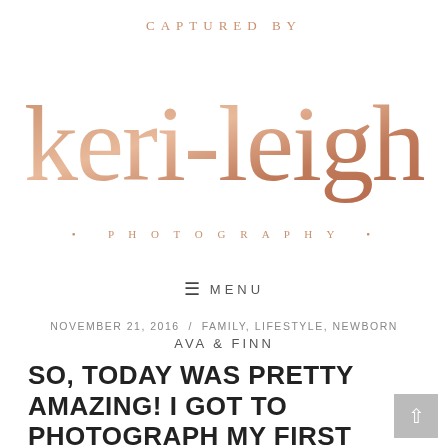[Figure (logo): Captured by Keri-Leigh Photography logo in rose gold script and uppercase lettering]
≡ MENU
NOVEMBER 21, 2016 / FAMILY, LIFESTYLE, NEWBORN
AVA & FINN
SO, TODAY WAS PRETTY AMAZING! I GOT TO PHOTOGRAPH MY FIRST BABY